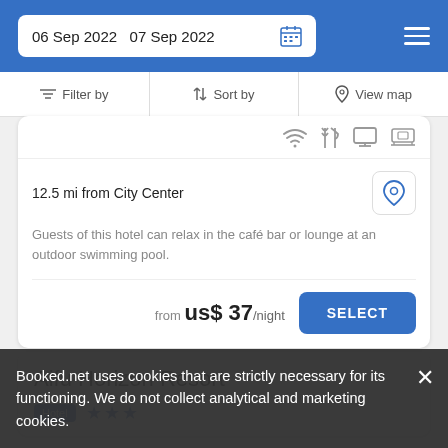06 Sep 2022  07 Sep 2022
Filter by   Sort by   View map
12.5 mi from City Center
Guests of this hotel can relax in the café bar or lounge at an outdoor swimming pool.
from  us$ 37/night
SELECT
Aifu Horizon Resort
Hotel ★★★
Booked.net uses cookies that are strictly necessary for its functioning. We do not collect analytical and marketing cookies.